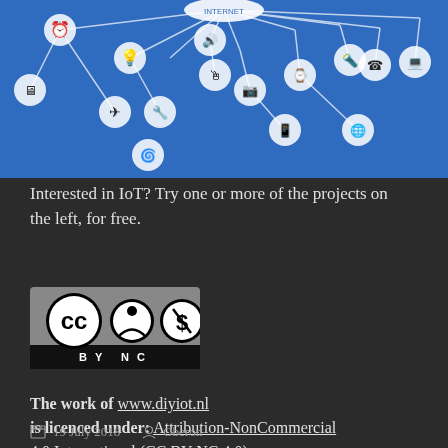[Figure (illustration): IoT network diagram on blue background showing various connected devices and icons (clock, lightbulb, speakers, airplane, drill, monitor, desktop, watch, camera, lamp, telephone, laptop, tablet, fan, etc.) connected by lines representing an Internet of Things network.]
Interested in IoT? Try one or more of the projects on the left, for free.
[Figure (logo): Creative Commons CC BY-NC license badge showing cc, person, and NC symbols on a grey and black background]
The work of www.diyiot.nl is licenced under: Attribution-NonCommercial 4.0 International (CC BY-NC 4.0).
19 July 2018   Oberon